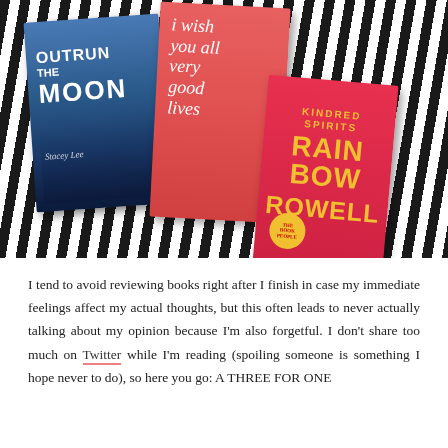[Figure (photo): Three books laid out on a black and white striped fabric background. From left to right: 'Outrun the Moon' by Stacey Lee (blue cover with lanterns), an open book showing 'I wish you all very good lives' in white script on coral/red background, and 'Kindred Spirits' by Rainbow Rowell (red/pink cover with yellow text).]
I tend to avoid reviewing books right after I finish in case my immediate feelings affect my actual thoughts, but this often leads to never actually talking about my opinion because I'm also forgetful. I don't share too much on Twitter while I'm reading (spoiling someone is something I hope never to do), so here you go: A THREE FOR ONE